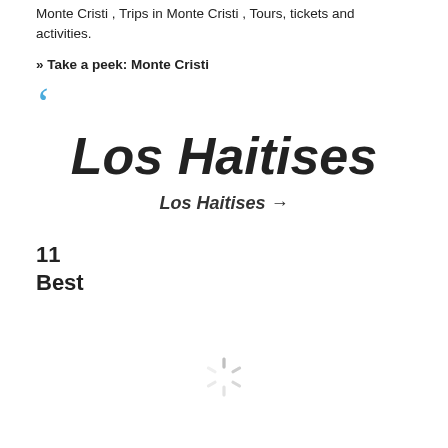Monte Cristi , Trips in Monte Cristi , Tours, tickets and activities.
» Take a peek: Monte Cristi
Los Haitises
Los Haitises →
11
Best
[Figure (other): Loading spinner icon (animated loading indicator)]